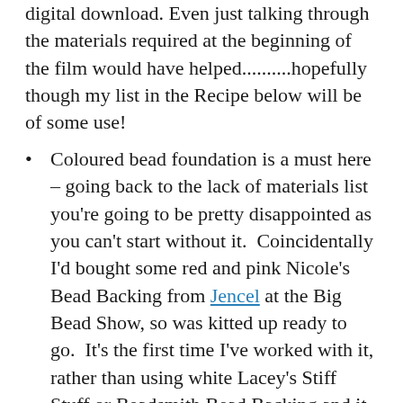digital download. Even just talking through the materials required at the beginning of the film would have helped..........hopefully though my list in the Recipe below will be of some use!
Coloured bead foundation is a must here – going back to the lack of materials list you're going to be pretty disappointed as you can't start without it. Coincidentally I'd bought some red and pink Nicole's Bead Backing from Jencel at the Big Bead Show, so was kitted up ready to go. It's the first time I've worked with it, rather than using white Lacey's Stiff Stuff or Beadsmith Bead Backing and it was really, really liberating. Using a backing that compliments or even contrasts with your beads, which you're